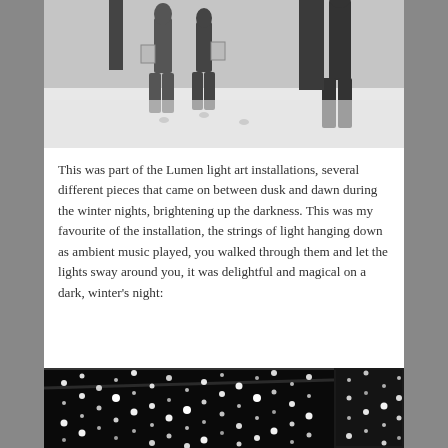[Figure (photo): Black and white photo of people standing in a snowy outdoor area with dark sculptural elements in the background.]
This was part of the Lumen light art installations, several different pieces that came on between dusk and dawn during the winter nights, brightening up the darkness. This was my favourite of the installation, the strings of light hanging down as ambient music played, you walked through them and let the lights sway around you, it was delightful and magical on a dark, winter's night:
[Figure (photo): Black and white photo of a room filled with hanging strings of lights creating a sparkling, starry effect in darkness.]